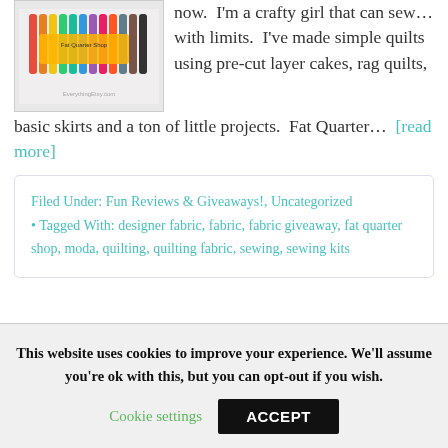now.  I'm a crafty girl that can sew… with limits.  I've made simple quilts using pre-cut layer cakes, rag quilts, basic skirts and a ton of little projects.  Fat Quarter… [read more]
[Figure (photo): Image of colorful fabric rolls/spools with 'Fat Quarter Shop' branding and EverythingEtsy.com watermark]
Filed Under: Fun Reviews & Giveaways!, Uncategorized · Tagged With: designer fabric, fabric, fabric giveaway, fat quarter shop, moda, quilting, quilting fabric, sewing, sewing kits
This website uses cookies to improve your experience. We'll assume you're ok with this, but you can opt-out if you wish.
Cookie settings
ACCEPT